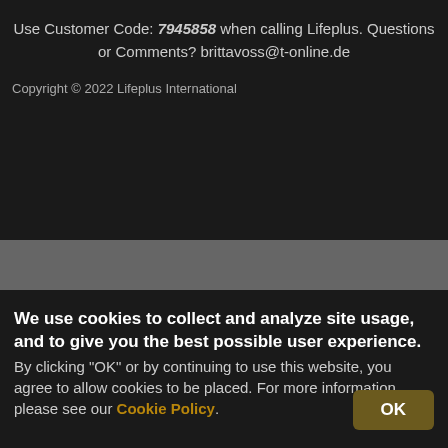Use Customer Code: 7945858 when calling Lifeplus. Questions or Comments? brittavoss@t-online.de
Copyright © 2022 Lifeplus International
We use cookies to collect and analyze site usage, and to give you the best possible user experience. By clicking "OK" or by continuing to use this website, you agree to allow cookies to be placed. For more information, please see our Cookie Policy.